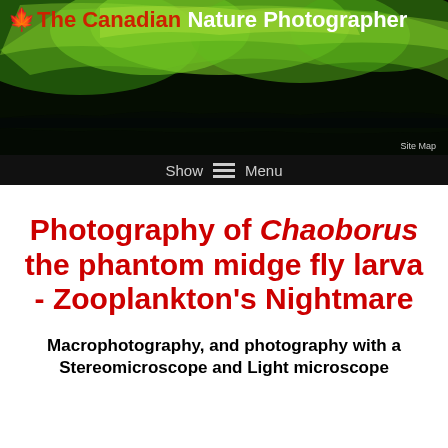[Figure (photo): Website header banner for 'The Canadian Nature Photographer' with aurora borealis (northern lights) photograph in green/yellow hues over dark landscape, with site title overlay and Site Map link]
Show Menu
Photography of Chaoborus the phantom midge fly larva - Zooplankton's Nightmare
Macrophotography, and photography with a Stereomicroscope and Light microscope